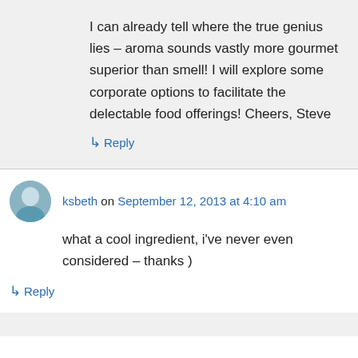I can already tell where the true genius lies – aroma sounds vastly more gourmet superior than smell! I will explore some corporate options to facilitate the delectable food offerings! Cheers, Steve
↳ Reply
ksbeth on September 12, 2013 at 4:10 am
what a cool ingredient, i've never even considered – thanks )
↳ Reply